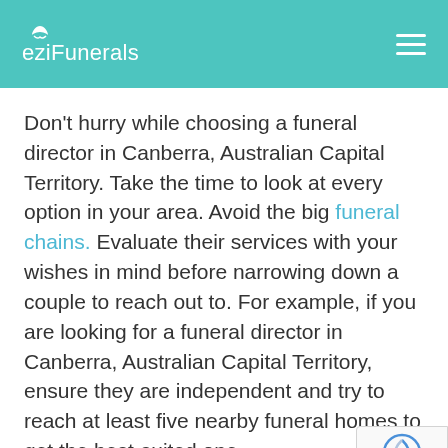eziFunerals
Don't hurry while choosing a funeral director in Canberra, Australian Capital Territory. Take the time to look at every option in your area. Avoid the big funeral chains. Evaluate their services with your wishes in mind before narrowing down a couple to reach out to. For example, if you are looking for a funeral director in Canberra, Australian Capital Territory, ensure they are independent and try to reach at least five nearby funeral homes to get the best-suited one.